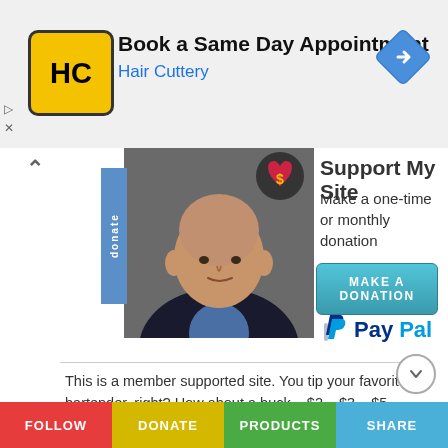[Figure (screenshot): Hair Cuttery advertisement banner: 'Book a Same Day Appointment' with HC logo and navigation arrow icon]
Support My Site
Make a one-time or monthly donation
[Figure (photo): Portrait photo of a bald man in a suit jacket]
MAKE A DONATION
[Figure (logo): PayPal logo]
This is a member supported site. You tip your favorite bartender, right? How about a buck... $2... $3... $5... $10... what ever YOU feel its worth, every time you feel I have given you a good tip, new knowledge or helpful insight. Please feel free to donate any amount you think is equal to the value you received from my eBook & Home Study Course (audio lessons), articles, emails, videos, newsletters, etc. At the very least, please share
FOLLOW | DONATE | PRODUCTS | SHARE